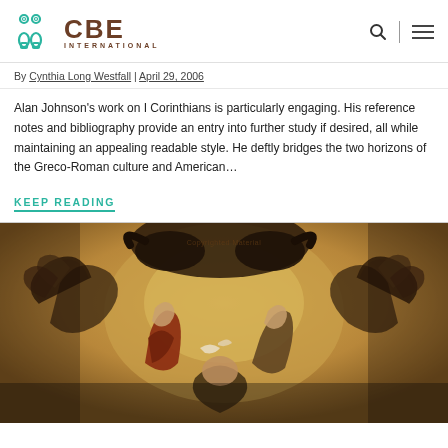CBE INTERNATIONAL
By Cynthia Long Westfall | April 29, 2006
Alan Johnson's work on I Corinthians is particularly engaging. His reference notes and bibliography provide an entry into further study if desired, all while maintaining an appealing readable style. He deftly bridges the two horizons of the Greco-Roman culture and American...
KEEP READING
[Figure (illustration): Classical religious painting showing winged figures (angels) surrounding a central scene, with a bull or large animal at the top, rendered in warm golden-brown tones. Watermark reads 'Copyrighted Material'.]